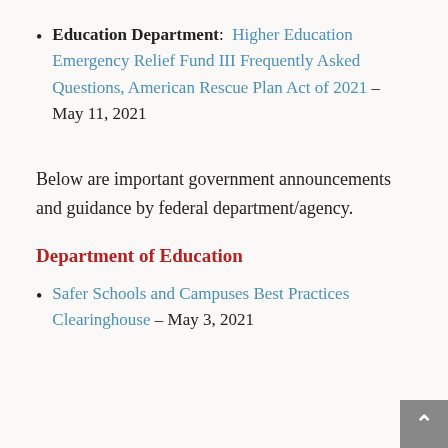Education Department: Higher Education Emergency Relief Fund III Frequently Asked Questions, American Rescue Plan Act of 2021 – May 11, 2021
Below are important government announcements and guidance by federal department/agency.
Department of Education
Safer Schools and Campuses Best Practices Clearinghouse – May 3, 2021